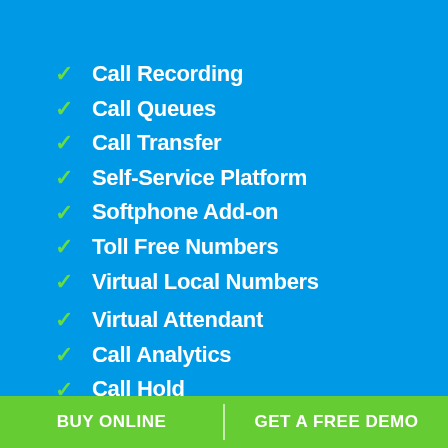Call Recording
Call Queues
Call Transfer
Self-Service Platform
Softphone Add-on
Toll Free Numbers
Virtual Local Numbers
Virtual Attendant
Call Analytics
Call Hold
Call Tracking
Voicemail-to-Email
Custom Ring Rules
BUY ONLINE | GET A FREE DEMO